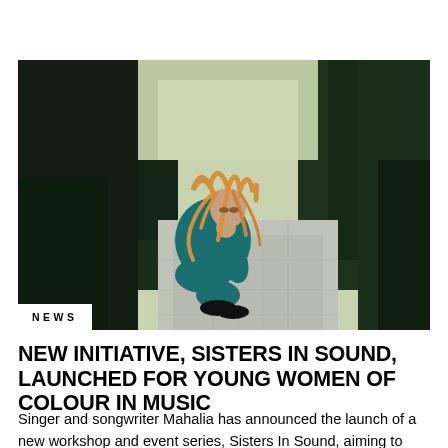[Figure (photo): A young woman with long reddish-blonde locs wearing a teal tracksuit, crouching on a paved pathway lined with dark green hedges and trees. She leans her head on one hand in a pose. The photo is taken outdoors in a park-like setting.]
NEWS
NEW INITIATIVE, SISTERS IN SOUND, LAUNCHED FOR YOUNG WOMEN OF COLOUR IN MUSIC
Singer and songwriter Mahalia has announced the launch of a new workshop and event series, Sisters In Sound, aiming to